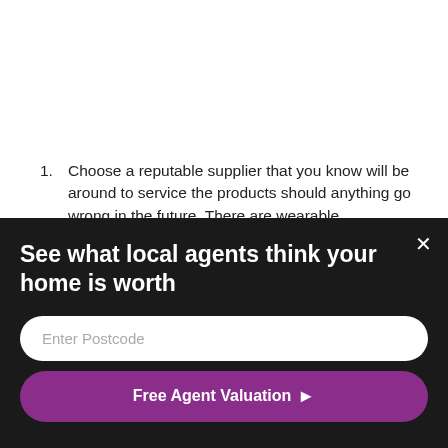1. Choose a reputable supplier that you know will be around to service the products should anything go wrong in the future. There are wearable components in all brass ware that will ultimately need replacing and you will want to be able to get spares.
2. Inv... [partially obscured by overlay]
3. Ch... [partially obscured by overlay]
[Figure (infographic): Dark overlay popup widget with title 'See what local agents think your home is worth', an input field for 'Enter Postcode', a purple CTA button 'Free Agent Valuation', and a close (×) button in the top right corner.]